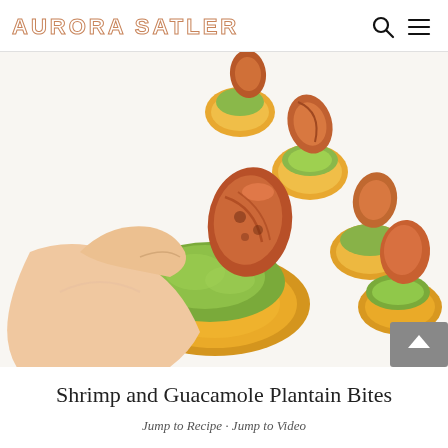AURORA SATLER
[Figure (photo): Close-up photo of a hand picking up a shrimp and guacamole plantain bite from a white surface. Multiple plantain rounds topped with green guacamole and seared shrimp are visible in the background.]
Shrimp and Guacamole Plantain Bites
Jump to Recipe · Jump to Video